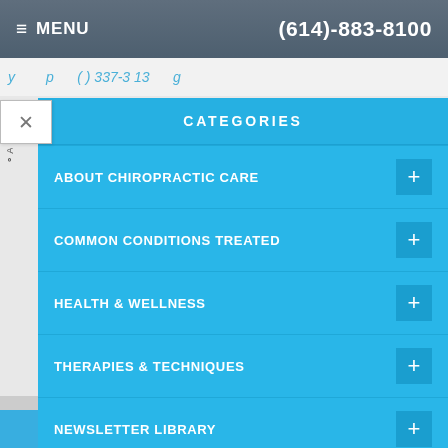≡ MENU  (614)-883-8100
y ... p ... ( ) 337-3 13 ... g
CATEGORIES
ABOUT CHIROPRACTIC CARE
COMMON CONDITIONS TREATED
HEALTH & WELLNESS
THERAPIES & TECHNIQUES
NEWSLETTER LIBRARY
WELLNESS4KIDS